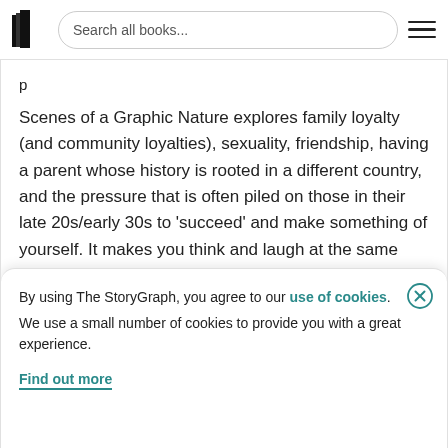Search all books...
Scenes of a Graphic Nature explores family loyalty (and community loyalties), sexuality, friendship, having a parent whose history is rooted in a different country, and the pressure that is often piled on those in their late 20s/early 30s to 'succeed' and make something of yourself. It makes you think and laugh at the same time. and there's grit and shocking
By using The StoryGraph, you agree to our use of cookies.
We use a small number of cookies to provide you with a great experience.
Find out more